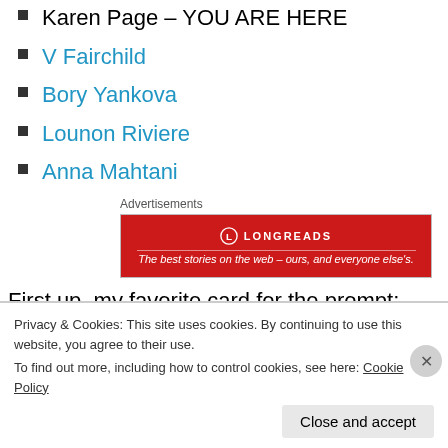Karen Page – YOU ARE HERE
V Fairchild
Bory Yankova
Lounon Riviere
Anna Mahtani
[Figure (other): Longreads advertisement banner: red background with Longreads logo and tagline 'The best stories on the web – ours, and everyone else's.']
First up, my favorite card for the prompt:
Privacy & Cookies: This site uses cookies. By continuing to use this website, you agree to their use.
To find out more, including how to control cookies, see here: Cookie Policy